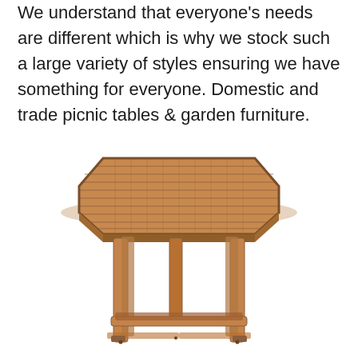We understand that everyone's needs are different which is why we stock such a large variety of styles ensuring we have something for everyone. Domestic and trade picnic tables & garden furniture.
[Figure (photo): A wooden octagonal garden/picnic table with slatted top surface and four legs connected by a lower cross-brace stretcher, photographed on white background. The table is made of honey-toned hardwood.]